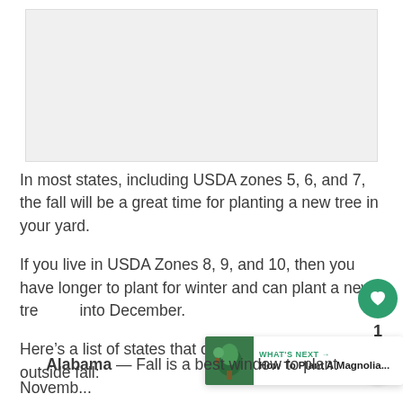[Figure (photo): Image placeholder at top of page, light gray background]
In most states, including USDA zones 5, 6, and 7, the fall will be a great time for planting a new tree in your yard.
If you live in USDA Zones 8, 9, and 10, then you have longer to plant for winter and can plant a new tree into December.
Here’s a list of states that can enable planting trees outside fall:
Alabama — Fall is a best window to plant November and...